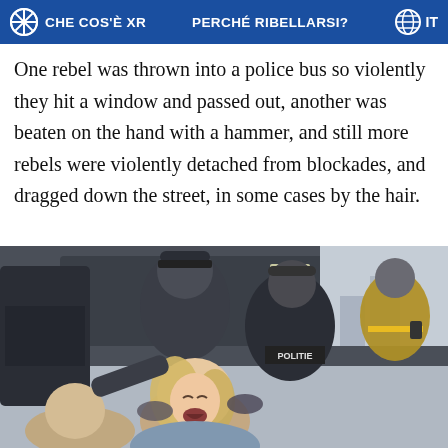CHE COS'È XR   PERCHÉ RIBELLARSI?   IT
One rebel was thrown into a police bus so violently they hit a window and passed out, another was beaten on the hand with a hammer, and still more rebels were violently detached from blockades, and dragged down the street, in some cases by the hair.
[Figure (photo): Police officers in dark uniforms and a high-visibility vest surrounding and restraining a distressed woman with blonde hair who is crying out, near a large dark vehicle. Officers wearing 'POLITIE' (Dutch police) markings are visible.]